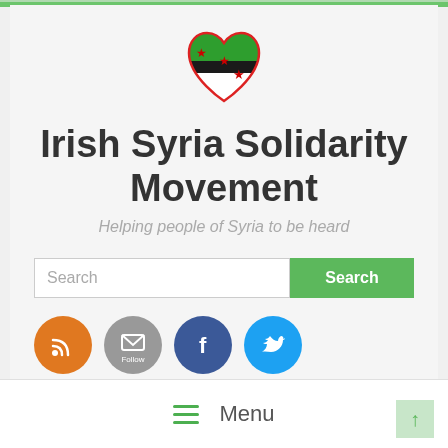[Figure (logo): Heart-shaped logo with Syrian independence flag colors — green top, black diagonal, white section with three red stars — outlined in red, on a light gray background]
Irish Syria Solidarity Movement
Helping people of Syria to be heard
[Figure (screenshot): Search bar with text input field labeled 'Search' and a green 'Search' button]
[Figure (infographic): Four social media icons: orange RSS icon, gray Follow/email icon, dark blue Facebook icon, light blue Twitter icon]
≡ Menu